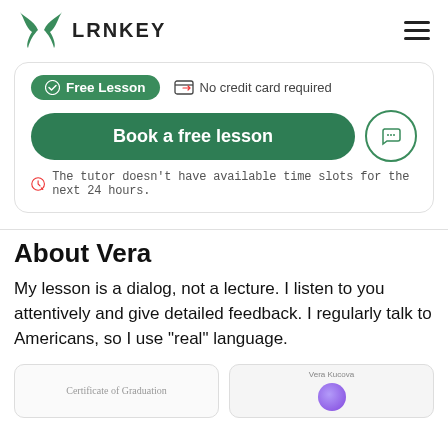LRNKEY
[Figure (screenshot): Booking widget card with Free Lesson badge, No credit card required notice, Book a free lesson button, chat icon, and time slot warning]
About Vera
My lesson is a dialog, not a lecture. I listen to you attentively and give detailed feedback. I regularly talk to Americans, so I use "real" language.
[Figure (photo): Certificate of Graduation thumbnail (partial, bottom of page)]
[Figure (photo): Vera Kucova document thumbnail (partial, bottom of page)]